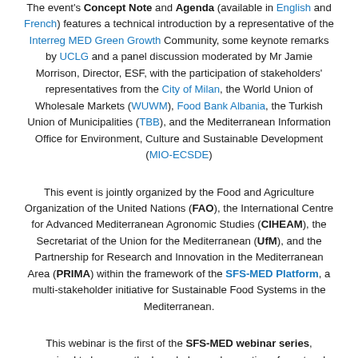The event's Concept Note and Agenda (available in English and French) features a technical introduction by a representative of the Interreg MED Green Growth Community, some keynote remarks by UCLG and a panel discussion moderated by Mr Jamie Morrison, Director, ESF, with the participation of stakeholders' representatives from the City of Milan, the World Union of Wholesale Markets (WUWM), Food Bank Albania, the Turkish Union of Municipalities (TBB), and the Mediterranean Information Office for Environment, Culture and Sustainable Development (MIO-ECSDE)
This event is jointly organized by the Food and Agriculture Organization of the United Nations (FAO), the International Centre for Advanced Mediterranean Agronomic Studies (CIHEAM), the Secretariat of the Union for the Mediterranean (UfM), and the Partnership for Research and Innovation in the Mediterranean Area (PRIMA) within the framework of the SFS-MED Platform, a multi-stakeholder initiative for Sustainable Food Systems in the Mediterranean.
This webinar is the first of the SFS-MED webinar series, organized to leverage the knowledge and expertise of a network of researchers, development practitioners and decision-makers. The webinars aim at strengthening knowledge sharing and stimulating debate around themes relevant to food systems transformation in the Mediterranean, peer exchange about recent research and study findings, as well as showcasing successful and inspiring actions to promote the operationalization of food systems approaches. The events will revolve